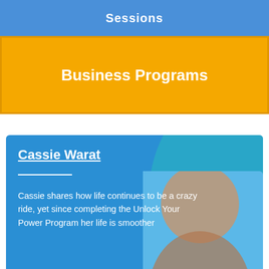Sessions
Business Programs
Cassie Warat
Cassie shares how life continues to be a crazy ride, yet since completing the Unlock Your Power Program her life is smoother
getting text messages from me saying "I need your help! How do I get through this?" feeling
Read More